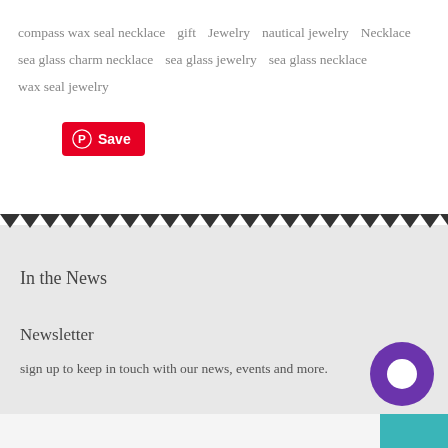compass wax seal necklace   gift   Jewelry   nautical jewelry   Necklace   sea glass charm necklace   sea glass jewelry   sea glass necklace   wax seal jewelry
[Figure (screenshot): Pinterest Save button — red button with Pinterest logo and 'Save' text in white]
[Figure (other): Zigzag/triangle decorative border divider between white and gray sections]
In the News
Newsletter
sign up to keep in touch with our news, events and more.
[Figure (other): Purple circular chat bubble widget in bottom right corner]